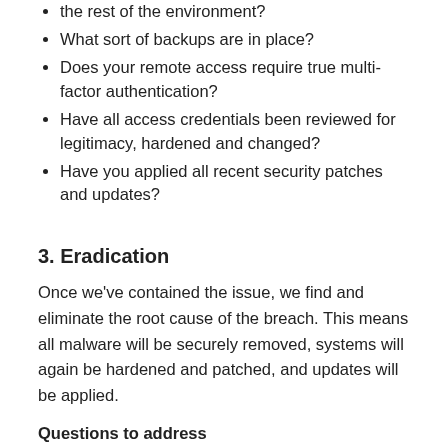the rest of the environment?
What sort of backups are in place?
Does your remote access require true multi-factor authentication?
Have all access credentials been reviewed for legitimacy, hardened and changed?
Have you applied all recent security patches and updates?
3. Eradication
Once we've contained the issue, we find and eliminate the root cause of the breach. This means all malware will be securely removed, systems will again be hardened and patched, and updates will be applied.
Questions to address